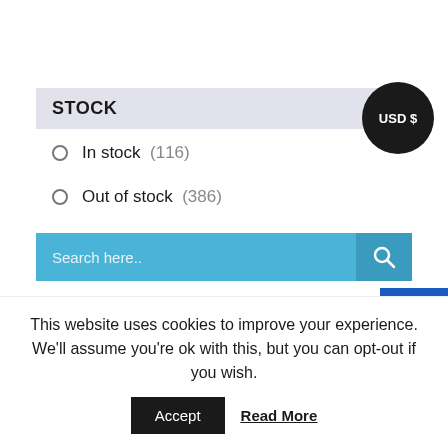STOCK
In stock (116)
Out of stock (386)
[Figure (screenshot): Search bar with teal/blue background and a search icon button on the right. Placeholder text reads 'Search here..']
CART
[Figure (screenshot): Dark blue email/envelope button in bottom-right corner]
This website uses cookies to improve your experience. We'll assume you're ok with this, but you can opt-out if you wish.
Accept
Read More